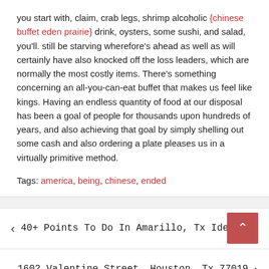you start with, claim, crab legs, shrimp alcoholic {chinese buffet eden prairie} drink, oysters, some sushi, and salad, you'll. still be starving wherefore's ahead as well as will certainly have also knocked off the loss leaders, which are normally the most costly items. There's something concerning an all-you-can-eat buffet that makes us feel like kings. Having an endless quantity of food at our disposal has been a goal of people for thousands upon hundreds of years, and also achieving that goal by simply shelling out some cash and also ordering a plate pleases us in a virtually primitive method.
Tags: america, being, chinese, ended
< 40+ Points To Do In Amarillo, Tx Ideas
1602 Valentine Street, Houston, Tx 77019 >